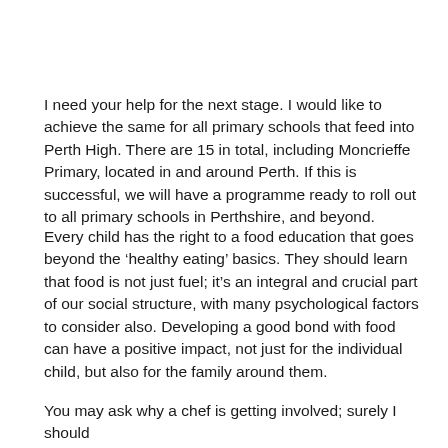I need your help for the next stage. I would like to achieve the same for all primary schools that feed into Perth High. There are 15 in total, including Moncrieffe Primary, located in and around Perth. If this is successful, we will have a programme ready to roll out to all primary schools in Perthshire, and beyond.
Every child has the right to a food education that goes beyond the 'healthy eating' basics. They should learn that food is not just fuel; it's an integral and crucial part of our social structure, with many psychological factors to consider also. Developing a good bond with food can have a positive impact, not just for the individual child, but also for the family around them.
You may ask why a chef is getting involved; surely I should